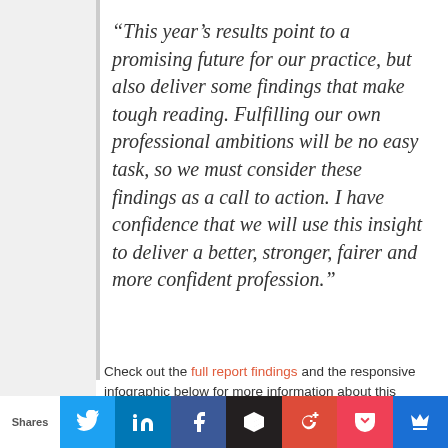“This year’s results point to a promising future for our practice, but also deliver some findings that make tough reading. Fulfilling our own professional ambitions will be no easy task, so we must consider these findings as a call to action. I have confidence that we will use this insight to deliver a better, stronger, fairer and more confident profession.”
Check out the full report findings and the responsive infographic below for more information about this